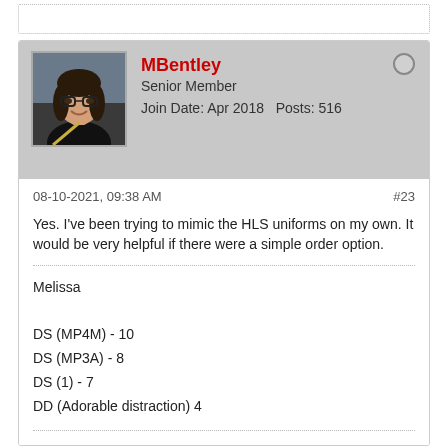[Figure (photo): User avatar photo of MBentley showing a woman with glasses]
MBentley
Senior Member
Join Date: Apr 2018   Posts: 516
08-10-2021, 09:38 AM   #23
Yes. I've been trying to mimic the HLS uniforms on my own. It would be very helpful if there were a simple order option.
Melissa

DS (MP4M) - 10
DS (MP3A) - 8
DS (1) - 7
DD (Adorable distraction) 4
Previous  1  2